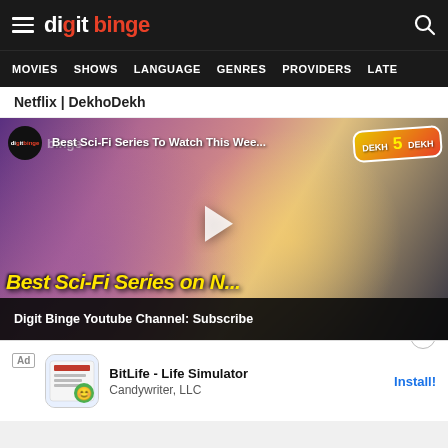digit binge
MOVIES  SHOWS  LANGUAGE  GENRES  PROVIDERS  LATE
Netflix | DekhoDekh
[Figure (screenshot): YouTube-style video thumbnail showing a man in a yellow shirt pointing, overlaid with text 'Best Sci-Fi Series To Watch This Wee...' and 'Best Sci-Fi Series on N...' with Dekh 5 Dekh branding logo, play button in center, and bottom bar reading 'Digit Binge Youtube Channel: Subscribe']
Digit Binge Youtube Channel: Subscribe
Ad  BitLife - Life Simulator  Candywriter, LLC  Install!